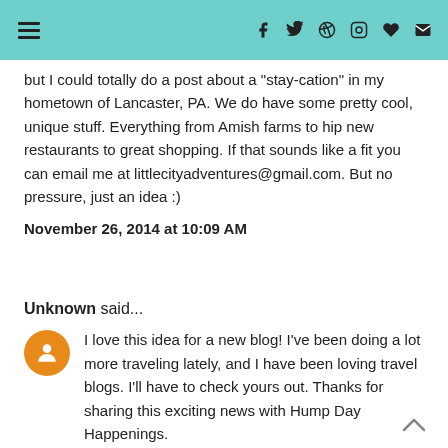[Navigation menu icon] [f] [twitter] [pinterest] [instagram] [heart] [email]
but I could totally do a post about a "stay-cation" in my hometown of Lancaster, PA. We do have some pretty cool, unique stuff. Everything from Amish farms to hip new restaurants to great shopping. If that sounds like a fit you can email me at littlecityadventures@gmail.com. But no pressure, just an idea :)
November 26, 2014 at 10:09 AM
Unknown said...
I love this idea for a new blog! I've been doing a lot more traveling lately, and I have been loving travel blogs. I'll have to check yours out. Thanks for sharing this exciting news with Hump Day Happenings.
November 26, 2014 at 4:02 PM